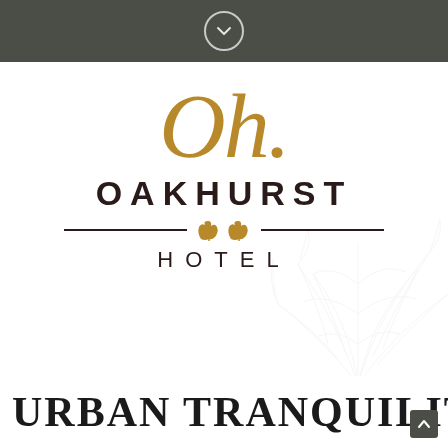[Figure (logo): Dark olive/sage colored header bar with a circular chevron down icon in white outline]
[Figure (logo): Oakhurst Hotel logo: gold italic script 'Oh.' above bold dark serif 'OAKHURST' text, divider line with gold oak leaves, and 'HOTEL' in spaced capitals]
URBAN TRANQUILITY IN